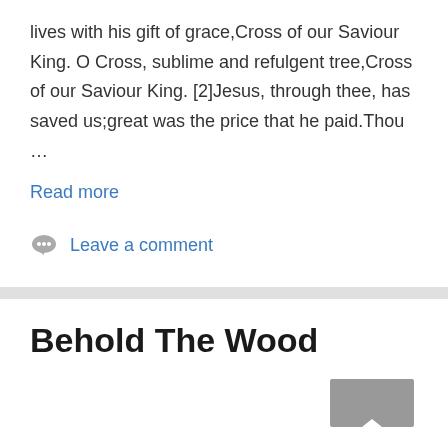lives with his gift of grace,Cross of our Saviour King. O Cross, sublime and refulgent tree,Cross of our Saviour King. [2]Jesus, through thee, has saved us;great was the price that he paid.Thou …
Read more
Leave a comment
Behold The Wood
[Figure (photo): Thumbnail image, partially visible, gray rectangle with small white triangle at bottom center]
×